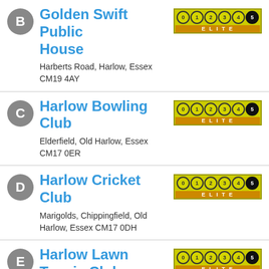B - Golden Swift Public House, Harberts Road, Harlow, Essex CM19 4AY, Rating: 5 ELITE
C - Harlow Bowling Club, Elderfield, Old Harlow, Essex CM17 0ER, Rating: 5 ELITE
D - Harlow Cricket Club, Marigolds, Chippingfield, Old Harlow, Essex CM17 0DH, Rating: 5 ELITE
E - Harlow Lawn Tennis Club, Rating: 5 ELITE